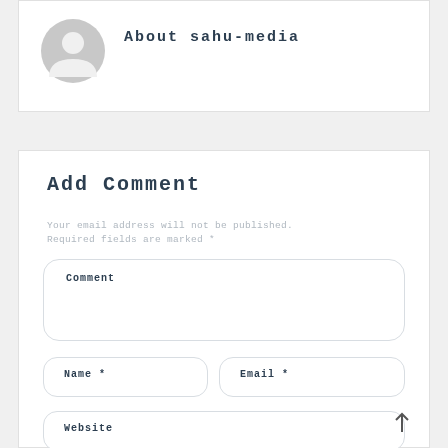[Figure (illustration): Gray circular avatar placeholder with a person silhouette icon]
About sahu-media
Add Comment
Your email address will not be published. Required fields are marked *
Comment
Name *
Email *
Website
Meinen Namen, meine E-Mail-Adresse und meine Website in diesem Browser